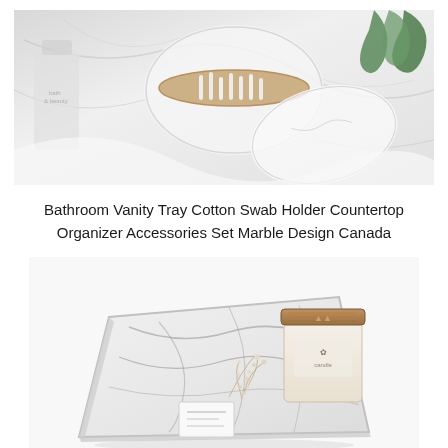[Figure (photo): Top product photo showing white marble bathroom accessories including a round cotton swab holder with bamboo lid and other vanity items on a white marble surface with green plant in background]
Bathroom Vanity Tray Cotton Swab Holder Countertop Organizer Accessories Set Marble Design Canada
[Figure (photo): Bottom product photo showing a square white marble-patterned tray with a candle jar featuring a brown bamboo lid and dried flower decoration on a white background]